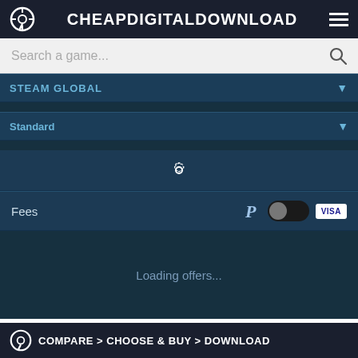CHEAPDIGITALDOWNLOAD
Search a game...
STEAM GLOBAL
Standard
Fees
Loading offers...
To report a missing price, please send us an email or use the chat. There are 3 offers ranging fr... 99.
COMPARE > CHOOSE & BUY > DOWNLOAD